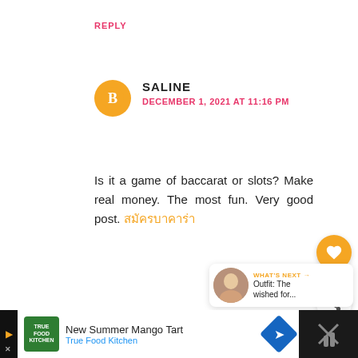REPLY
SALINE
DECEMBER 1, 2021 AT 11:16 PM
Is it a game of baccarat or slots? Make real money. The most fun. Very good post. สมัครบาคาร่า
REPLY
ANDREW MARK
DECEMBER 9, 2021 AT 4:44 AM
WHAT'S NEXT → Outfit: The wished for...
New Summer Mango Tart True Food Kitchen